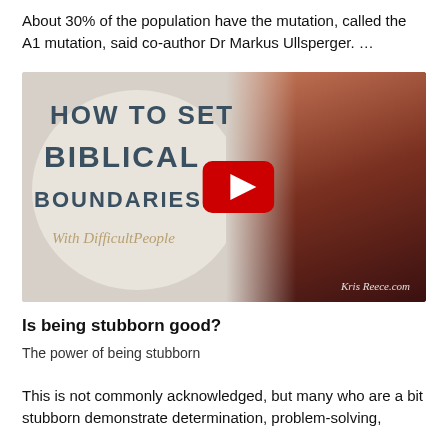About 30% of the population have the mutation, called the A1 mutation, said co-author Dr Markus Ullsperger. …
[Figure (screenshot): YouTube video thumbnail for 'How to Set Biblical Boundaries With Difficult People' featuring a woman in a red top, with a YouTube play button overlay. Text on thumbnail: HOW TO SET BIBLICAL BOUNDARIES With DifficultPeople. Watermark: Kris Reece.com]
Is being stubborn good?
The power of being stubborn
This is not commonly acknowledged, but many who are a bit stubborn demonstrate determination, problem-solving,